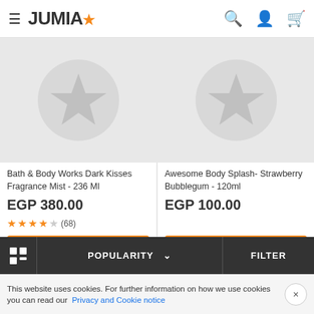JUMIA - e-commerce navigation header with hamburger menu, logo, search, account, and cart icons
[Figure (photo): Product image placeholder with star icon on grey background for Bath & Body Works Dark Kisses Fragrance Mist]
Bath & Body Works Dark Kisses Fragrance Mist - 236 Ml
EGP 380.00
4.5 stars (68 reviews)
ADD TO CART
[Figure (photo): Product image placeholder with star icon on grey background for Awesome Body Splash Strawberry Bubblegum]
Awesome Body Splash- Strawberry Bubblegum - 120ml
EGP 100.00
ADD TO CART
Grid view | POPULARITY | FILTER
This website uses cookies. For further information on how we use cookies you can read our Privacy and Cookie notice